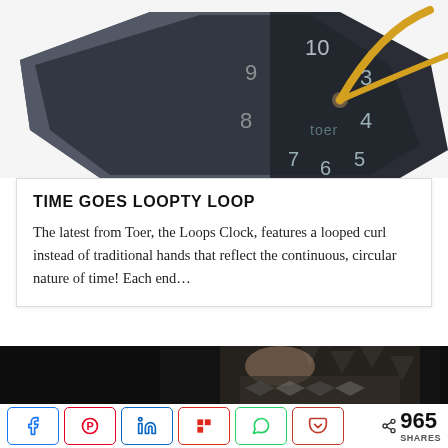[Figure (photo): A dark-faced designer clock (Toer Loops Clock) with geometric octagonal shape, showing numbers 3,4,5,6,7,8,9,10, with golden/yellow looped hands and the brand name 'toer' printed on the face. The clock face has a two-tone dark grey and black design.]
TIME GOES LOOPTY LOOP
The latest from Toer, the Loops Clock, features a looped curl instead of traditional hands that reflect the continuous, circular nature of time! Each end...
[Figure (photo): Partial photo showing a person wearing a patterned black and white top, cropped.]
965 SHARES social sharing buttons: Facebook, Pinterest, LinkedIn, Flipboard, WhatsApp, Pocket